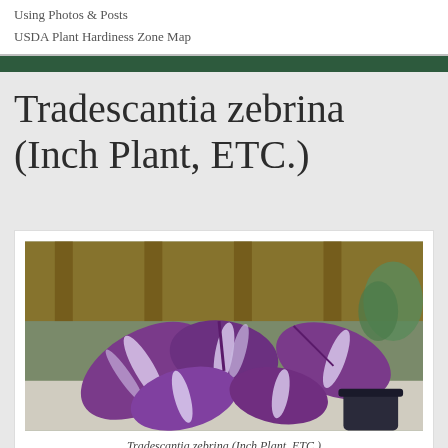Using Photos & Posts
USDA Plant Hardiness Zone Map
Tradescantia zebrina (Inch Plant, ETC.)
[Figure (photo): Photograph of Tradescantia zebrina (Inch Plant) showing purple and white striped leaves in a garden setting with wooden fence in background]
Tradescantia zebrina (Inch Plant, ETC.)